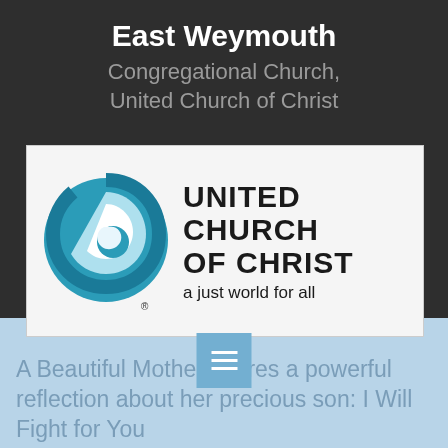East Weymouth
Congregational Church, United Church of Christ
[Figure (logo): United Church of Christ logo with blue swirl emblem on left and text 'UNITED CHURCH OF CHRIST a just world for all' on right, on a light gray/white background]
[Figure (other): Navigation menu button with three horizontal white lines on a light blue square background]
A Beautiful Mother shares a powerful reflection about her precious son: I Will Fight for You